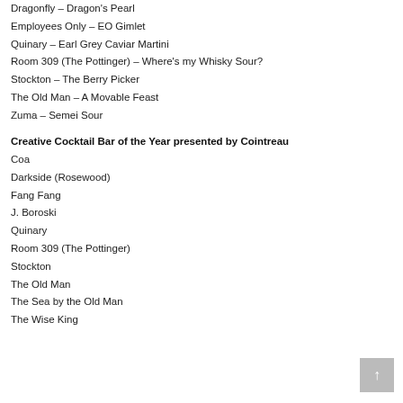Dragonfly – Dragon's Pearl
Employees Only – EO Gimlet
Quinary – Earl Grey Caviar Martini
Room 309 (The Pottinger) – Where's my Whisky Sour?
Stockton – The Berry Picker
The Old Man – A Movable Feast
Zuma – Semei Sour
Creative Cocktail Bar of the Year presented by Cointreau
Coa
Darkside (Rosewood)
Fang Fang
J. Boroski
Quinary
Room 309 (The Pottinger)
Stockton
The Old Man
The Sea by the Old Man
The Wise King